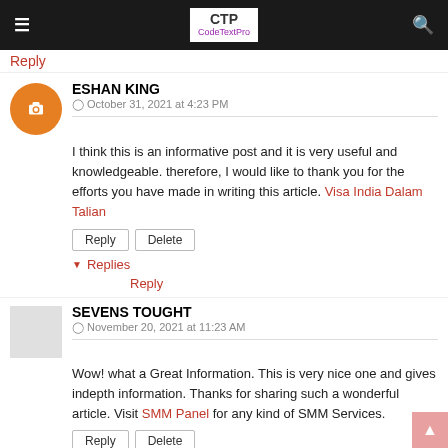CTP CodeTextPro
Reply
ESHAN KING
October 31, 2021 at 4:23 PM
I think this is an informative post and it is very useful and knowledgeable. therefore, I would like to thank you for the efforts you have made in writing this article. Visa India Dalam Talian
Reply  Delete
▼ Replies
Reply
SEVENS TOUGHT
November 20, 2021 at 11:23 AM
Wow! what a Great Information. This is very nice one and gives indepth information. Thanks for sharing such a wonderful article. Visit SMM Panel for any kind of SMM Services.
Reply  Delete
▼ Replies